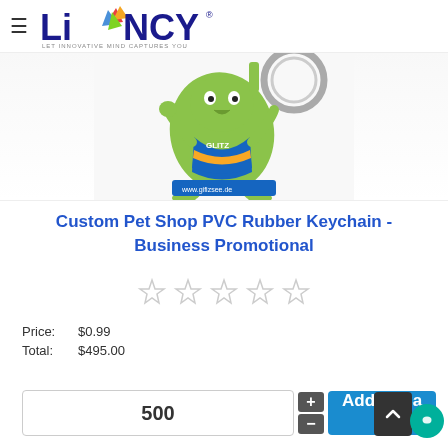LINCY - LET INNOVATIVE MIND CAPTURES YOU
[Figure (photo): Custom PVC rubber keychain shaped like a green cartoon lizard/gecko character wearing blue and yellow clothing, with a metal key ring. Text on keychain reads 'GLITZ' and 'www.gifizsee.de']
Custom Pet Shop PVC Rubber Keychain - Business Promotional
[Figure (other): 5 empty/unfilled star rating icons]
Price:  $0.99
Total:  $495.00